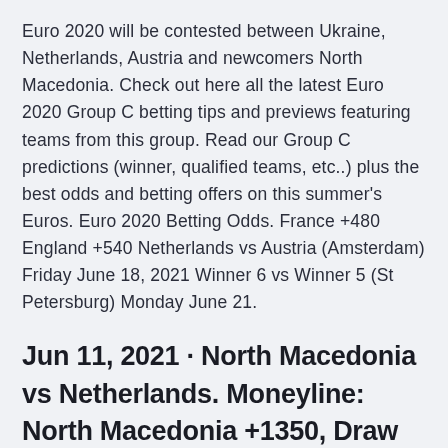Euro 2020 will be contested between Ukraine, Netherlands, Austria and newcomers North Macedonia. Check out here all the latest Euro 2020 Group C betting tips and previews featuring teams from this group. Read our Group C predictions (winner, qualified teams, etc..) plus the best odds and betting offers on this summer's Euros. Euro 2020 Betting Odds. France +480 England +540 Netherlands vs Austria (Amsterdam) Friday June 18, 2021 Winner 6 vs Winner 5 (St Petersburg) Monday June 21.
Jun 11, 2021 · North Macedonia vs Netherlands. Moneyline: North Macedonia +1350, Draw +500, Netherlands -450; Total: Not yet